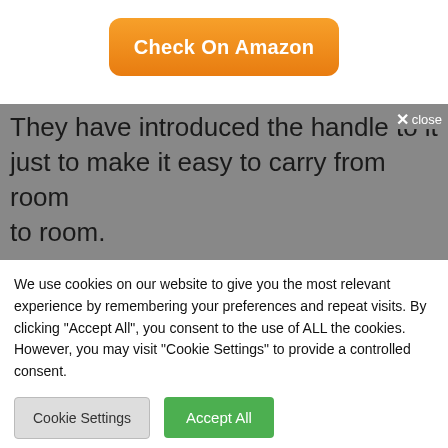[Figure (other): Orange gradient button labeled 'Check On Amazon']
They have introduced the handle to it just to make it easy to carry from room to room.
× close
We use cookies on our website to give you the most relevant experience by remembering your preferences and repeat visits. By clicking "Accept All", you consent to the use of ALL the cookies. However, you may visit "Cookie Settings" to provide a controlled consent.
Cookie Settings
Accept All